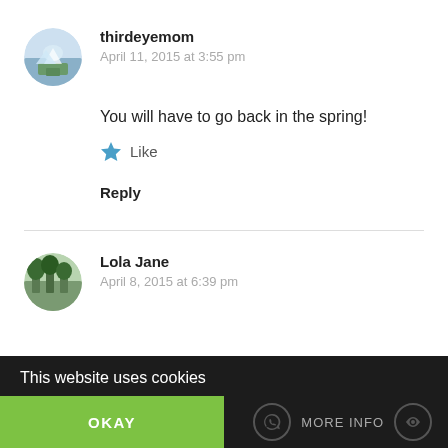[Figure (photo): Round avatar photo for user thirdeyemom showing a winter landscape]
thirdeyemom
April 11, 2015 at 3:55 pm
You will have to go back in the spring!
★ Like
Reply
[Figure (photo): Round avatar photo for user Lola Jane showing trees/forest]
Lola Jane
April 8, 2015 at 6:39 pm
This website uses cookies
OKAY
MORE INFO